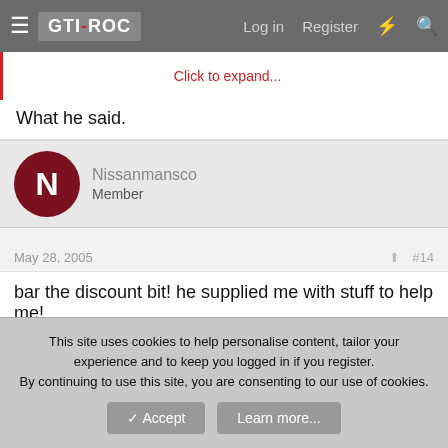GTI-ROC  Log in  Register
Click to expand...
What he said.
Nissanmansco
Member
May 28, 2005  #14
bar the discount bit! he supplied me with stuff to help me!
si.c R
Guest
This site uses cookies to help personalise content, tailor your experience and to keep you logged in if you register.
By continuing to use this site, you are consenting to our use of cookies.